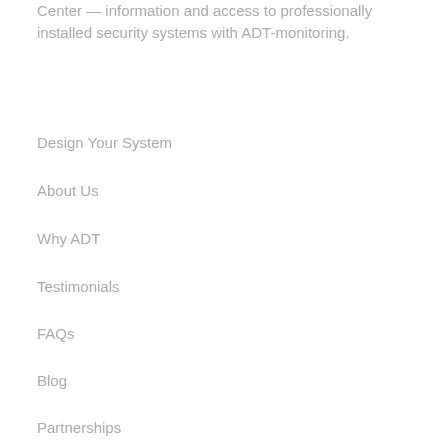Center — information and access to professionally installed security systems with ADT-monitoring.
Design Your System
About Us
Why ADT
Testimonials
FAQs
Blog
Partnerships